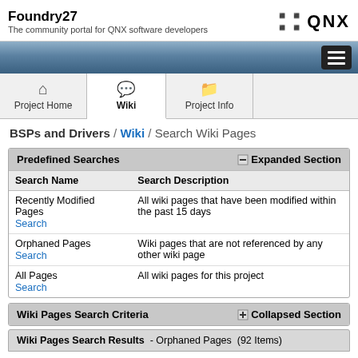Foundry27 - The community portal for QNX software developers
[Figure (logo): QNX logo with BlackBerry icon]
[Figure (other): Navigation bar with hamburger menu button]
[Figure (other): Tab navigation: Project Home, Wiki (active), Project Info]
BSPs and Drivers / Wiki / Search Wiki Pages
| Search Name | Search Description |
| --- | --- |
| Recently Modified Pages Search | All wiki pages that have been modified within the past 15 days |
| Orphaned Pages Search | Wiki pages that are not referenced by any other wiki page |
| All Pages Search | All wiki pages for this project |
Wiki Pages Search Criteria
Wiki Pages Search Results - Orphaned Pages (92 Items)